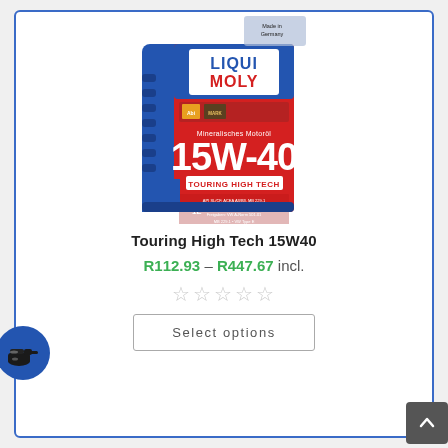[Figure (photo): Liqui Moly Touring High Tech 15W-40 motor oil 1L bottle, blue and red packaging with LIQUI MOLY branding, Made in Germany label, Mineralisches Motoröl, Touring High Tech]
Touring High Tech 15W40
R112.93 – R447.67 incl.
★★★★★ (empty stars rating)
Select options